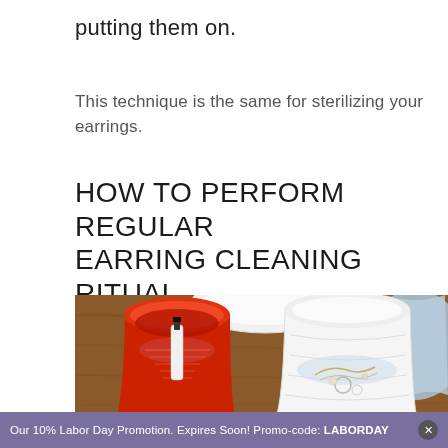putting them on.
This technique is the same for sterilizing your earrings.
HOW TO PERFORM REGULAR EARRING CLEANING RITUAL
[Figure (photo): Overhead view of two cups on a wooden surface — a red cup containing a nail polish bottle on a strainer insert, and a white cup containing jewelry (earrings/necklace). A white lid and blue cloth visible in background.]
Our 10% Labor Day Promotion. Expires Soon! Promo-code: LABORDAY